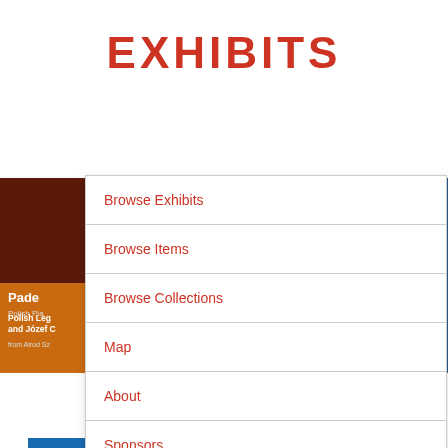EXHIBITS
[Figure (screenshot): Background image strip showing exhibit thumbnails: dark reddish-brown section on left with orange-tinted lower portion showing text 'Pade...' and 'Polish Pia...' and 'Polish Leg... and Józef... from Alrod Sz...', dark red section on right with blue panel]
Browse Exhibits
Browse Items
Browse Collections
Map
About
Sponsors